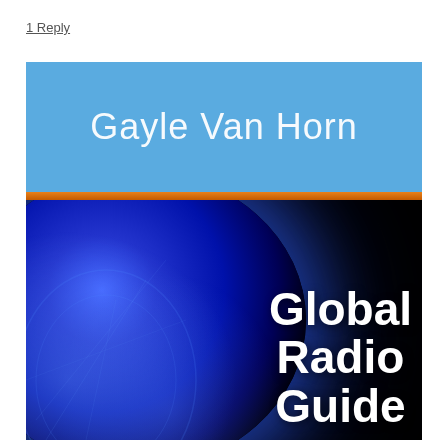1 Reply
[Figure (illustration): Book cover for 'Global Radio Guide' by Gayle Van Horn. Top section has a sky-blue background with the author name 'Gayle Van Horn' in large white text. Below is an orange stripe separator. The lower section shows a dark background with a glowing blue solar/globe image, overlaid with large white bold text reading 'Global Radio Guide'.]